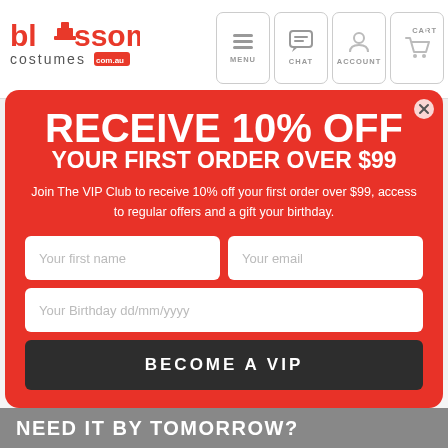[Figure (logo): Blossom Costumes logo with top hat graphic, red text, and com.au badge]
[Figure (infographic): Navigation icons: MENU (hamburger), CHAT (speech bubble), ACCOUNT (person), CART (shopping cart with red badge)]
RECEIVE 10% OFF YOUR FIRST ORDER OVER $99
Join The VIP Club to receive 10% off your first order over $99, access to regular offers and a gift your birthday.
Your first name
Your email
Your Birthday dd/mm/yyyy
BECOME A VIP
Check Delivery Time and Cost
NEED IT BY TOMORROW?